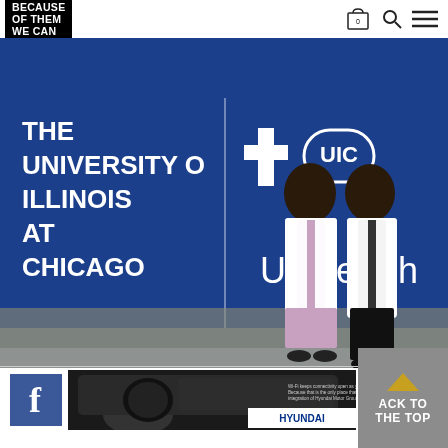BECAUSE OF THEM WE CAN
[Figure (photo): Two women in white lab coats standing in front of a University of Illinois at Chicago / UI Health blue sign]
[Figure (photo): Facebook icon, car interior advertisement photo, Hyundai ad with small text, and back to top button]